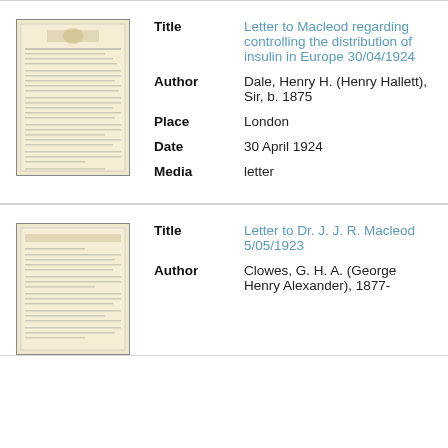[Figure (photo): Thumbnail image of a historical letter document with official letterhead and dense typed text]
| Title | Letter to Macleod regarding controlling the distribution of insulin in Europe 30/04/1924 |
| Author | Dale, Henry H. (Henry Hallett), Sir, b. 1875 |
| Place | London |
| Date | 30 April 1924 |
| Media | letter |
[Figure (photo): Thumbnail image of a second historical letter document, typed on official letterhead]
| Title | Letter to Dr. J. J. R. Macleod 5/05/1923 |
| Author | Clowes, G. H. A. (George Henry Alexander), 1877- |